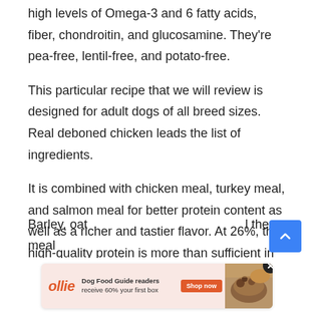high levels of Omega-3 and 6 fatty acids, fiber, chondroitin, and glucosamine. They're pea-free, lentil-free, and potato-free.
This particular recipe that we will review is designed for adult dogs of all breed sizes. Real deboned chicken leads the list of ingredients.
It is combined with chicken meal, turkey meal, and salmon meal for better protein content as well as a richer and tastier flavor. At 26%, the high-quality protein is more than sufficient in helping build high energy levels and lean muscle mass.
Barley, oat … the meal
[Figure (infographic): Advertisement banner for 'ollie' dog food subscription service. Text reads: 'Dog Food Guide readers receive 60% your first box' with a Shop now button. Includes a close (x) button and a food photo on the right.]